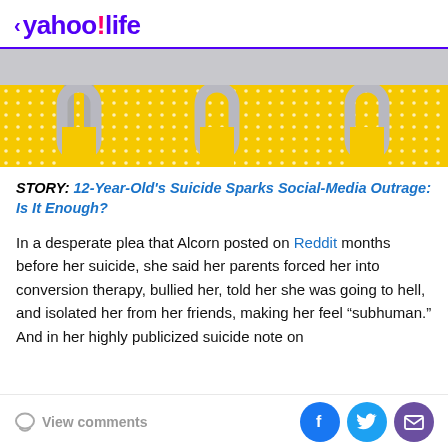< yahoo!life
[Figure (photo): Hero image showing metallic hair clips/bobby pins against a yellow polka-dot background, partially visible, on a gray background.]
STORY: 12-Year-Old's Suicide Sparks Social-Media Outrage: Is It Enough?
In a desperate plea that Alcorn posted on Reddit months before her suicide, she said her parents forced her into conversion therapy, bullied her, told her she was going to hell, and isolated her from her friends, making her feel “subhuman.” And in her highly publicized suicide note on
View comments